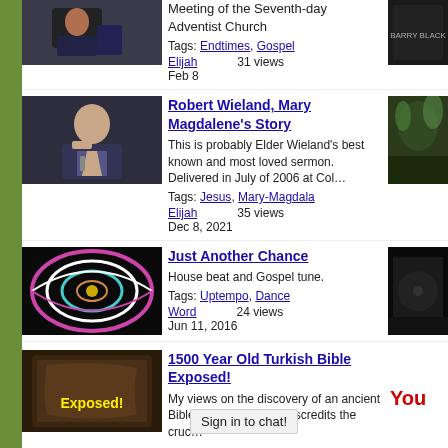Meeting of the Seventh-day Adventist Church
Tags: Endtimes, Gospel
Elijah  31 views
Feb 8
Robert Wieland, Mary Magdalene's Story
This is probably Elder Wieland's best known and most loved sermon. Delivered in July of 2006 at Col…
Tags: Jesus, Mary-Magdala
Elijah  35 views
Dec 8, 2021
Just Another Chance
House beat and Gospel tune.
Tags: Uptempo, Dance
Word  24 views
Jun 11, 2016
1500 Year Old Turkish Bible Exposed!
My views on the discovery of an ancient Bible that supposedly discredits the cruc…
Sign in to chat!